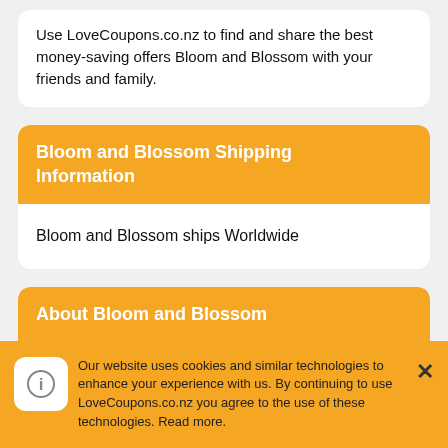Use LoveCoupons.co.nz to find and share the best money-saving offers Bloom and Blossom with your friends and family.
Bloom and Blossom Shipping Information
Bloom and Blossom ships Worldwide
About Bloom and Blossom
Bloom and Blossom is a multi-award-winning British skincare brand for the entire family that
Our website uses cookies and similar technologies to enhance your experience with us. By continuing to use LoveCoupons.co.nz you agree to the use of these technologies. Read more.